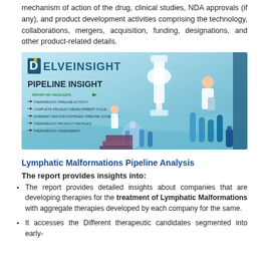mechanism of action of the drug, clinical studies, NDA approvals (if any), and product development activities comprising the technology, collaborations, mergers, acquisition, funding, designations, and other product-related details.
[Figure (illustration): DelveInsight Pipeline Insight banner showing the company logo, 'PIPELINE INSIGHT' heading with bullet highlights (Therapeutic Pipeline Activity, Complete Product Development Cycle, Dormant and Discontinued Pipeline Coverage, Therapeutic Product Profiles, Therapeutic Assessment), and an illustration of scientists working with laboratory equipment including microscopes and flasks.]
Lymphatic Malformations Pipeline Analysis
The report provides insights into:
The report provides detailed insights about companies that are developing therapies for the treatment of Lymphatic Malformations with aggregate therapies developed by each company for the same.
It accesses the Different therapeutic candidates segmented into early-